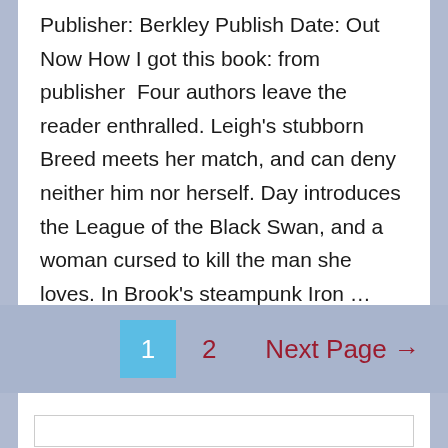Publisher: Berkley Publish Date: Out Now How I got this book: from publisher   Four authors leave the reader enthralled. Leigh's stubborn Breed meets her match, and can deny neither him nor herself. Day introduces the League of the Black Swan, and a woman cursed to kill the man she loves. In Brook's steampunk Iron …
Read More »
1  2  Next Page →